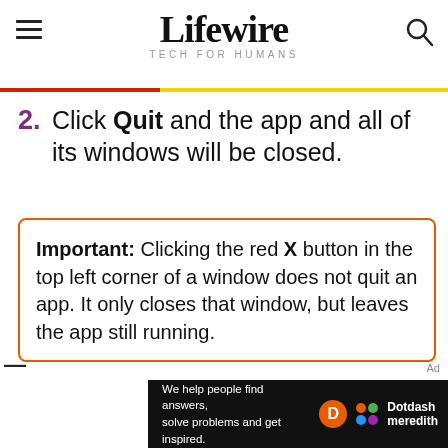Lifewire TECH FOR HUMANS
2. Click Quit and the app and all of its windows will be closed.
Important: Clicking the red X button in the top left corner of a window does not quit an app. It only closes that window, but leaves the app still running.
[Figure (infographic): Dotdash Meredith advertisement banner: 'We help people find answers, solve problems and get inspired.' with orange D circle logo and multicolor Dotdash Meredith logo]